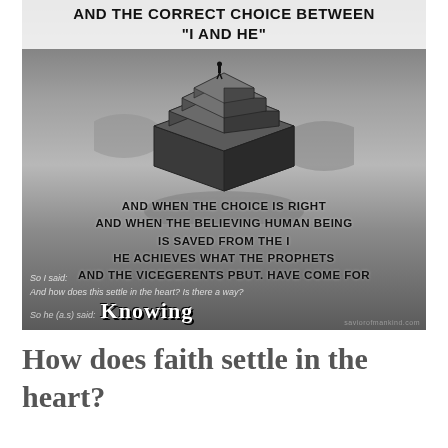[Figure (photo): Black and white surreal image of a man standing atop a large impossible cube structure floating among clouds. Overlaid text reads: 'AND THE CORRECT CHOICE BETWEEN "I AND HE"' at top; 'AND WHEN THE CHOICE IS RIGHT / AND WHEN THE BELIEVING HUMAN BEING / IS SAVED FROM THE I / HE ACHIEVES WHAT THE PROPHETS / AND THE VICEGERENTS PBUT. HAVE COME FOR'; smaller text: 'SO I SAID: AND HOW DOES THIS SETTLE IN THE HEART? IS THERE A WAY?'; 'SO HE (A.S) SAID: KNOWING'. Watermark: saviorofmankind.com]
How does faith settle in the heart?